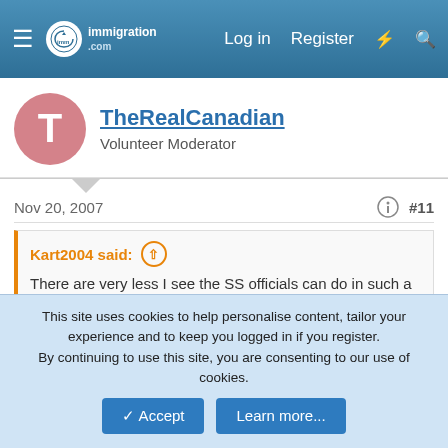immigration.com — Log in  Register
TheRealCanadian
Volunteer Moderator
Nov 20, 2007  #11
Kart2004 said: There are very less I see the SS officials can do in such a case.
You cannot claim SS disability merely on your say-so. Until SSA declares you disabled, you don't get a cent. I'm not sure what the requirements are for that; if you need to be examined by a US doctor.
This site uses cookies to help personalise content, tailor your experience and to keep you logged in if you register.
By continuing to use this site, you are consenting to our use of cookies.